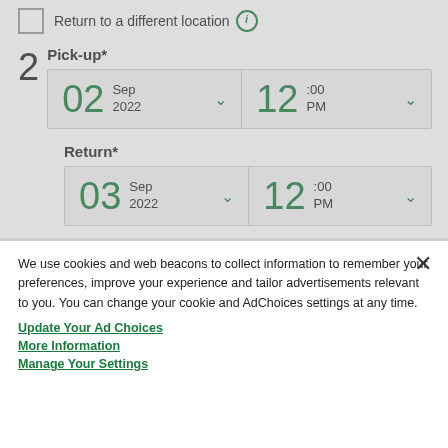Return to a different location (i)
2 Pick-up*
02 Sep 2022   12 :00 PM
Return*
03 Sep 2022   12 :00 PM
Renter Age Policy*
We use cookies and web beacons to collect information to remember your preferences, improve your experience and tailor advertisements relevant to you. You can change your cookie and AdChoices settings at any time.
Update Your Ad Choices
More Information
Manage Your Settings